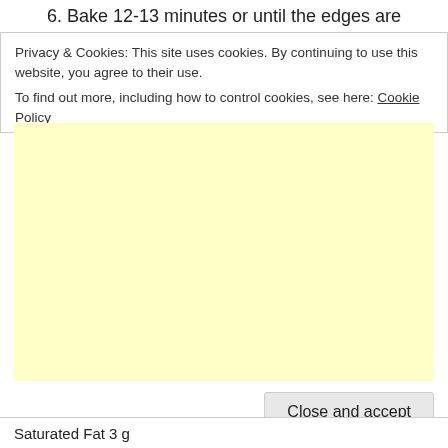6. Bake 12-13 minutes or until the edges are
Privacy & Cookies: This site uses cookies. By continuing to use this website, you agree to their use.
To find out more, including how to control cookies, see here: Cookie Policy
[Figure (other): Light yellow advertisement placeholder box]
Close and accept
Saturated Fat 3 g